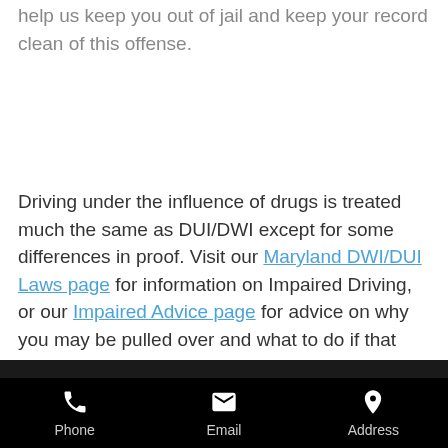help us keep you out of jail and keep your record clean of this offense.
Driving under the influence of drugs is treated much the same as DUI/DWI except for some differences in proof. Visit our Maryland DWI/DUI Laws page for information on Impaired Driving, or our Impaired Advice page for advice on why you may be pulled over and what to do if that happens.
Phone   Email   Address